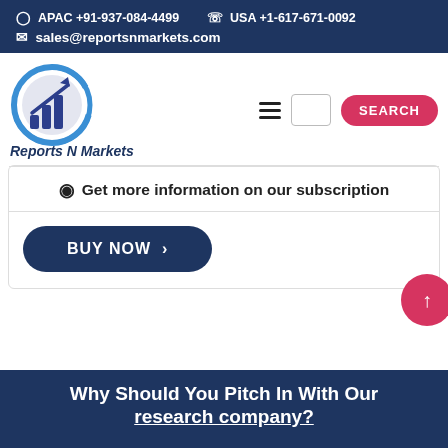APAC +91-937-084-4499   USA +1-617-671-0092   sales@reportsnmarkets.com
[Figure (logo): Reports N Markets logo with bar chart and arrow in circular design, blue and purple colors, with text 'Reports N Markets']
Get more information on our subscription
BUY NOW >
Why Should You Pitch In With Our research company?